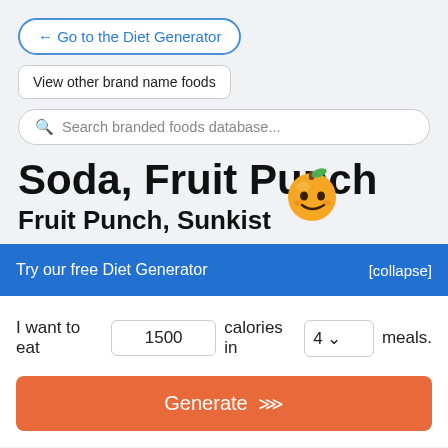← Go to the Diet Generator
View other brand name foods
Search branded foods database...
Soda, Fruit Punch
Fruit Punch, Sunkist
Try our free Diet Generator
[collapse]
I want to eat 1500 calories in 4 meals.
Generate